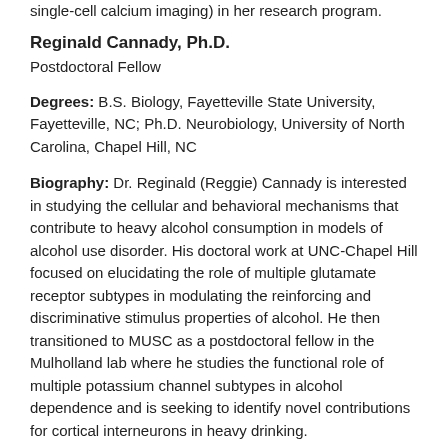single-cell calcium imaging) in her research program.
Reginald Cannady, Ph.D.
Postdoctoral Fellow
Degrees: B.S. Biology, Fayetteville State University, Fayetteville, NC; Ph.D. Neurobiology, University of North Carolina, Chapel Hill, NC
Biography: Dr. Reginald (Reggie) Cannady is interested in studying the cellular and behavioral mechanisms that contribute to heavy alcohol consumption in models of alcohol use disorder. His doctoral work at UNC-Chapel Hill focused on elucidating the role of multiple glutamate receptor subtypes in modulating the reinforcing and discriminative stimulus properties of alcohol. He then transitioned to MUSC as a postdoctoral fellow in the Mulholland lab where he studies the functional role of multiple potassium channel subtypes in alcohol dependence and is seeking to identify novel contributions for cortical interneurons in heavy drinking.